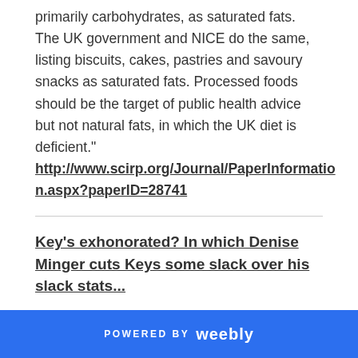primarily carbohydrates, as saturated fats. The UK government and NICE do the same, listing biscuits, cakes, pastries and savoury snacks as saturated fats. Processed foods should be the target of public health advice but not natural fats, in which the UK diet is deficient." http://www.scirp.org/Journal/PaperInformation.aspx?paperID=28741
Key's exhonorated? In which Denise Minger cuts Keys some slack over his slack stats...
POWERED BY weebly